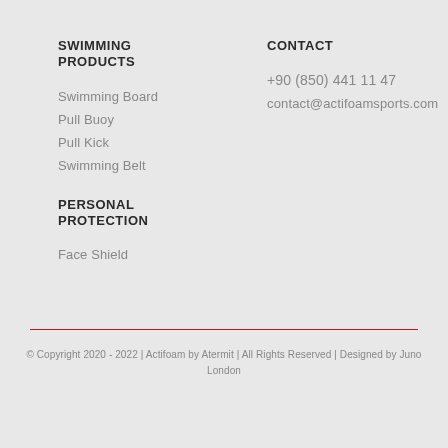SWIMMING PRODUCTS
Swimming Board
Pull Buoy
Pull Kick
Swimming Belt
PERSONAL PROTECTION
Face Shield
CONTACT
+90 (850) 441 11 47
contact@actifoamsports.com
© Copyright 2020 - 2022 | Actifoam by Atermit | All Rights Reserved | Designed by Juno London